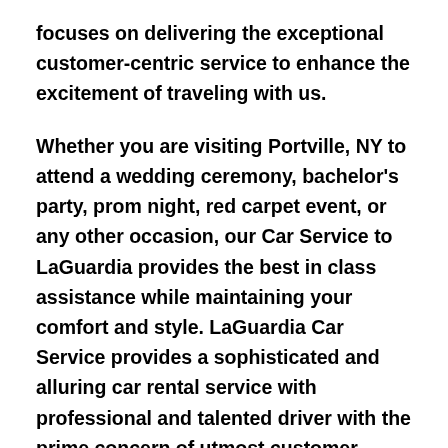focuses on delivering the exceptional customer-centric service to enhance the excitement of traveling with us.
Whether you are visiting Portville, NY to attend a wedding ceremony, bachelor's party, prom night, red carpet event, or any other occasion, our Car Service to LaGuardia provides the best in class assistance while maintaining your comfort and style. LaGuardia Car Service provides a sophisticated and alluring car rental service with professional and talented driver with the prime concern of utmost customer satisfaction and integrity.
With LaGuardia Car Service, we strive to maintain punctuality and timely transport as a primary